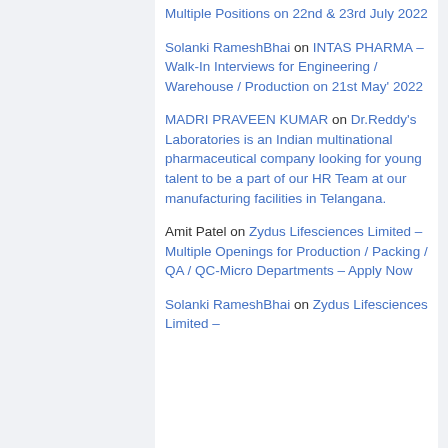Multiple Positions on 22nd & 23rd July 2022
Solanki RameshBhai on INTAS PHARMA – Walk-In Interviews for Engineering / Warehouse / Production on 21st May' 2022
MADRI PRAVEEN KUMAR on Dr.Reddy's Laboratories is an Indian multinational pharmaceutical company looking for young talent to be a part of our HR Team at our manufacturing facilities in Telangana.
Amit Patel on Zydus Lifesciences Limited – Multiple Openings for Production / Packing / QA / QC-Micro Departments – Apply Now
Solanki RameshBhai on Zydus Lifesciences Limited –